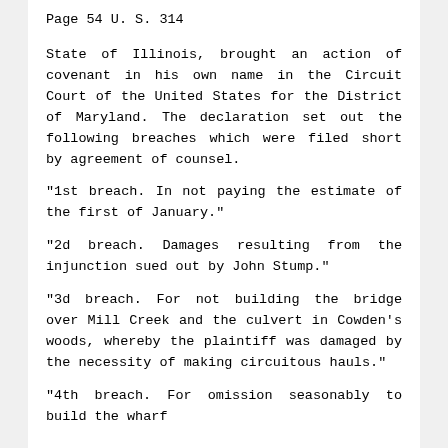Page 54 U. S. 314
State of Illinois, brought an action of covenant in his own name in the Circuit Court of the United States for the District of Maryland. The declaration set out the following breaches which were filed short by agreement of counsel.
"1st breach. In not paying the estimate of the first of January."
"2d breach. Damages resulting from the injunction sued out by John Stump."
"3d breach. For not building the bridge over Mill Creek and the culvert in Cowden's woods, whereby the plaintiff was damaged by the necessity of making circuitous hauls."
"4th breach. For omission seasonably to build the wharf